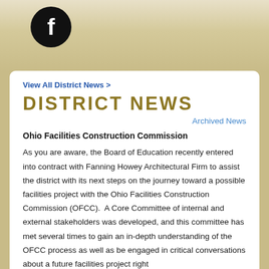[Figure (logo): Facebook logo icon - black circle with white letter f]
View All District News >
DISTRICT NEWS
Archived News
Ohio Facilities Construction Commission
As you are aware, the Board of Education recently entered into contract with Fanning Howey Architectural Firm to assist the district with its next steps on the journey toward a possible facilities project with the Ohio Facilities Construction Commission (OFCC).  A Core Committee of internal and external stakeholders was developed, and this committee has met several times to gain an in-depth understanding of the OFCC process as well as be engaged in critical conversations about a future facilities project right